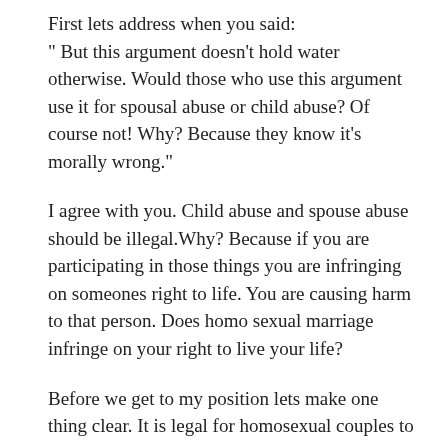First lets address when you said:
" But this argument doesn't hold water otherwise. Would those who use this argument use it for spousal abuse or child abuse? Of course not! Why? Because they know it's morally wrong."
I agree with you. Child abuse and spouse abuse should be illegal.Why? Because if you are participating in those things you are infringing on someones right to life. You are causing harm to that person. Does homo sexual marriage infringe on your right to live your life?
Before we get to my position lets make one thing clear. It is legal for homosexual couples to